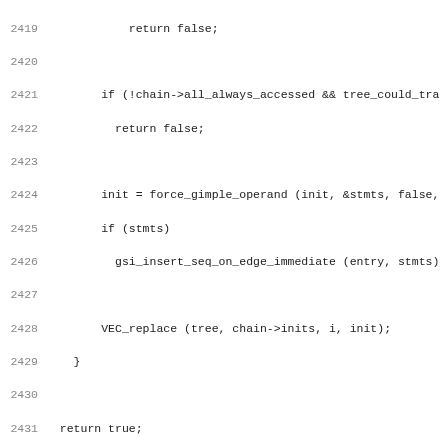Source code listing lines 2419-2450 showing C code for chain initializer preparation